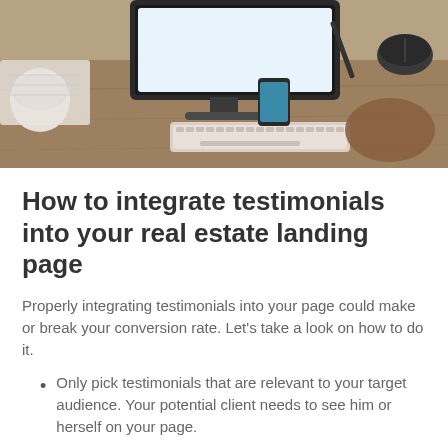[Figure (photo): A wooden desk from above with an iMac computer, keyboard, mouse, smartphone and other office items.]
How to integrate testimonials into your real estate landing page
Properly integrating testimonials into your page could make or break your conversion rate. Let’s take a look on how to do it.
Only pick testimonials that are relevant to your target audience. Your potential client needs to see him or herself on your page.
Use visuals such as images or video whenever possible and appropriate. It helps build trust and